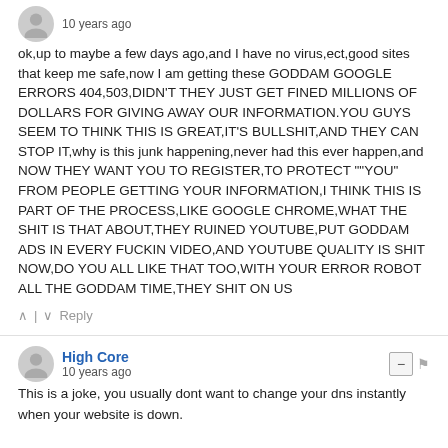10 years ago
ok,up to maybe a few days ago,and I have no virus,ect,good sites that keep me safe,now I am getting these GODDAM GOOGLE ERRORS 404,503,DIDN'T THEY JUST GET FINED MILLIONS OF DOLLARS FOR GIVING AWAY OUR INFORMATION.YOU GUYS SEEM TO THINK THIS IS GREAT,IT'S BULLSHIT,AND THEY CAN STOP IT,why is this junk happening,never had this ever happen,and NOW THEY WANT YOU TO REGISTER,TO PROTECT ""YOU" FROM PEOPLE GETTING YOUR INFORMATION,I THINK THIS IS PART OF THE PROCESS,LIKE GOOGLE CHROME,WHAT THE SHIT IS THAT ABOUT,THEY RUINED YOUTUBE,PUT GODDAM ADS IN EVERY FUCKIN VIDEO,AND YOUTUBE QUALITY IS SHIT NOW,DO YOU ALL LIKE THAT TOO,WITH YOUR ERROR ROBOT ALL THE GODDAM TIME,THEY SHIT ON US
Reply
High Core
10 years ago
This is a joke, you usually dont want to change your dns instantly when your website is down.